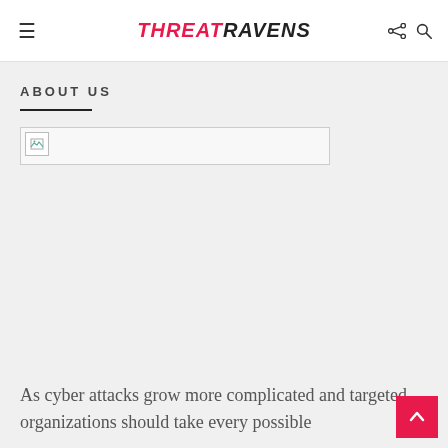THREATRAVENS
ABOUT US
[Figure (other): Broken image placeholder - an image that failed to load, shown as a small broken image icon in a bordered rectangle]
As cyber attacks grow more complicated and targeted, organizations should take every possible